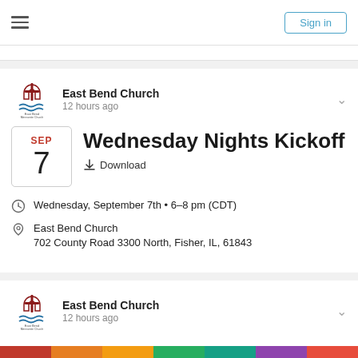Sign in
East Bend Church
12 hours ago
Wednesday Nights Kickoff
Download
Wednesday, September 7th • 6–8 pm (CDT)
East Bend Church
702 County Road 3300 North, Fisher, IL, 61843
East Bend Church
12 hours ago